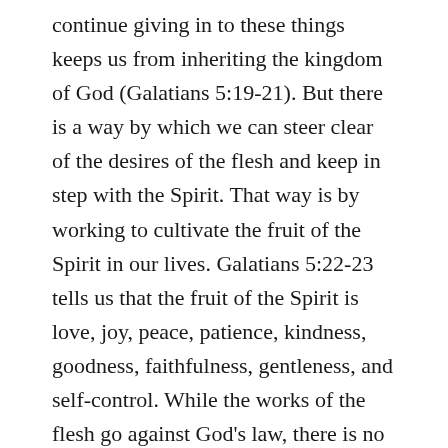continue giving in to these things keeps us from inheriting the kingdom of God (Galatians 5:19-21). But there is a way by which we can steer clear of the desires of the flesh and keep in step with the Spirit. That way is by working to cultivate the fruit of the Spirit in our lives. Galatians 5:22-23 tells us that the fruit of the Spirit is love, joy, peace, patience, kindness, goodness, faithfulness, gentleness, and self-control. While the works of the flesh go against God's law, there is no law against the fruit of the Spirit. Over the next several days, we will take a look each fruit, beginning today with love.
When Paul listed the names of the fruit of the Spirit, he began with love. This is not by chance. In order to cultivate the other fruit in our lives, we must begin